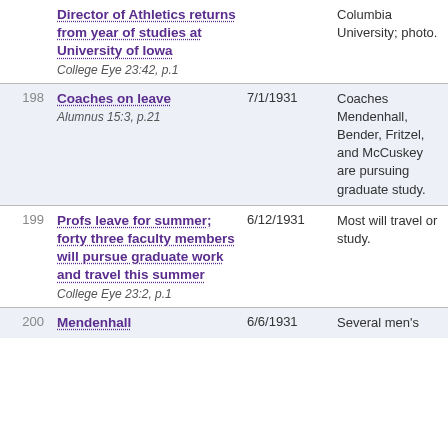| # | Title / Source | Date | Description |
| --- | --- | --- | --- |
|  | Director of Athletics returns from year of studies at University of Iowa
College Eye 23:42, p.1 |  | Columbia University; photo. |
| 198 | Coaches on leave
Alumnus 15:3, p.21 | 7/1/1931 | Coaches Mendenhall, Bender, Fritzel, and McCuskey are pursuing graduate study. |
| 199 | Profs leave for summer; forty three faculty members will pursue graduate work and travel this summer
College Eye 23:2, p.1 | 6/12/1931 | Most will travel or study. |
| 200 | Mendenhall | 6/6/1931 | Several men's |